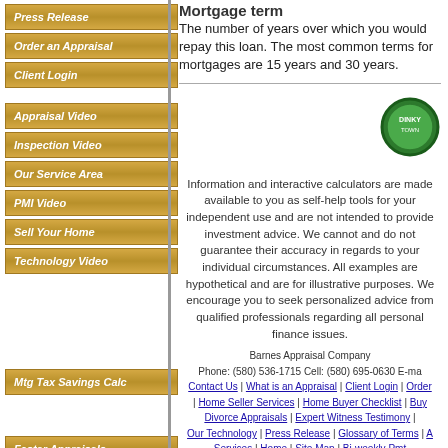Press Release
Order an Appraisal
Client Login
Appraisal Video
Inspection Video
Our Service Area
PMI Video
Sell Your Home
Technology Video
Mtg Tax Savings Calc
Faster Appraisals
Mortgage term
The number of years over which you would repay this loan. The most common terms for mortgages are 15 years and 30 years.
[Figure (logo): DinkyTown or similar circular green logo badge]
Information and interactive calculators are made available to you as self-help tools for your independent use and are not intended to provide investment advice. We cannot and do not guarantee their accuracy in regards to your individual circumstances. All examples are hypothetical and are for illustrative purposes. We encourage you to seek personalized advice from qualified professionals regarding all personal finance issues.
Barnes Appraisal Company Phone: (580) 536-1715 Cell: (580) 695-0630 E-mail: Contact Us | What is an Appraisal | Client Login | Order | Home Seller Services | Home Buyer Checklist | Buy | Divorce Appraisals | Expert Witness Testimony | Our Technology | Press Release | Glossary of Terms | A Services | Home | Site Map | Bi-weekly Pmt 15 vs 30 Year Mtg Calc | Balloon Mortgage Calc | Mortgage Payoff Calc | Rent vs Buy Calc | Refi Breake